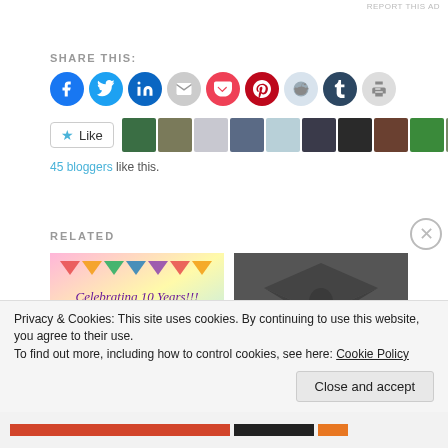REPORT THIS AD
SHARE THIS:
[Figure (infographic): Social sharing icons: Facebook, Twitter, LinkedIn, Email, Pocket, Pinterest, Reddit, Tumblr, Print]
Like  [star icon]  45 bloggers like this.
[Figure (photo): Row of blogger avatar thumbnails]
RELATED
[Figure (photo): Celebrating 10 Years!!! - colorful balloons party image]
I would Love for You to
[Figure (photo): Black Belt Codependent - dark bow tie on grey background]
Black Belt Codependent
Advertisements
Privacy & Cookies: This site uses cookies. By continuing to use this website, you agree to their use.
To find out more, including how to control cookies, see here: Cookie Policy
Close and accept